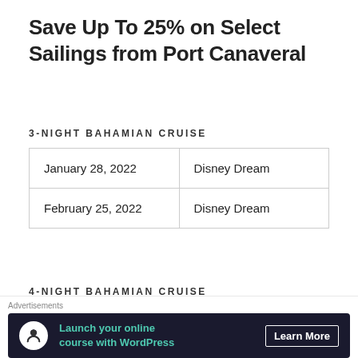Save Up To 25% on Select Sailings from Port Canaveral
3-NIGHT BAHAMIAN CRUISE
| January 28, 2022 | Disney Dream |
| February 25, 2022 | Disney Dream |
4-NIGHT BAHAMIAN CRUISE
|  |  |
Advertisements
Launch your online course with WordPress — Learn More